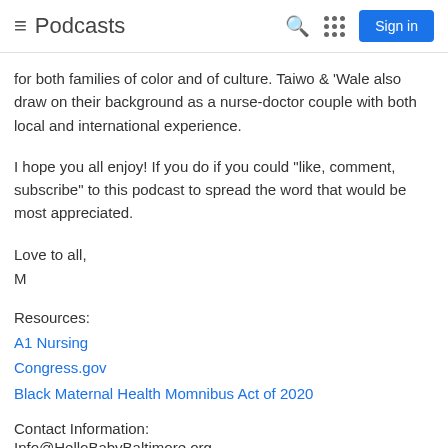Podcasts
for both families of color and of culture. Taiwo & 'Wale also draw on their background as a nurse-doctor couple with both local and international experience.
I hope you all enjoy! If you do if you could "like, comment, subscribe" to this podcast to spread the word that would be most appreciated.
Love to all,
M
Resources:
A1 Nursing
Congress.gov
Black Maternal Health Momnibus Act of 2020
Contact Information:
Info@HelloBabyBaltimore.org
Facebook
Instagram